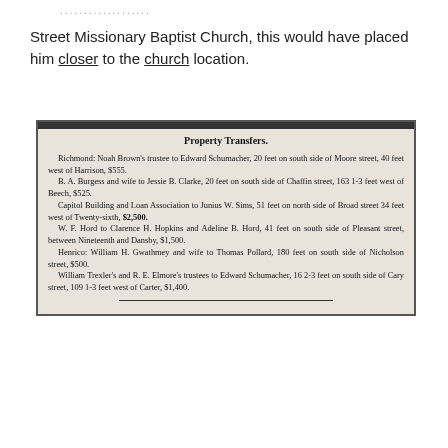Street Missionary Baptist Church, this would have placed him closer to the church location.
[Figure (other): A newspaper clipping showing a 'Property Transfers' section with real estate transactions in Richmond and Henrico.]